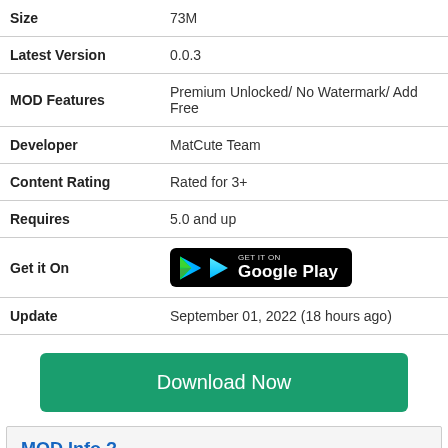| Size | 73M |
| Latest Version | 0.0.3 |
| MOD Features | Premium Unlocked/ No Watermark/ Add Free |
| Developer | MatCute Team |
| Content Rating | Rated for 3+ |
| Requires | 5.0 and up |
| Get it On | [Google Play button] |
| Update | September 01, 2022 (18 hours ago) |
Download Now
MOD Info ?